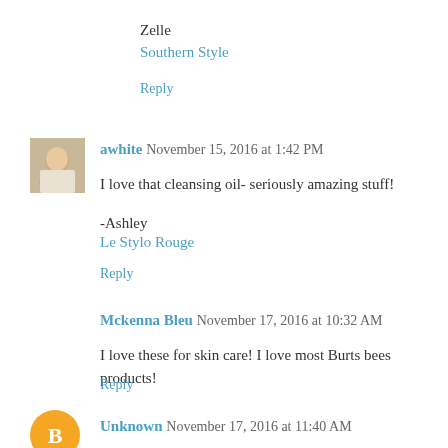Zelle
Southern Style
Reply
awhite  November 15, 2016 at 1:42 PM
I love that cleansing oil- seriously amazing stuff!
-Ashley
Le Stylo Rouge
Reply
Mckenna Bleu  November 17, 2016 at 10:32 AM
I love these for skin care! I love most Burts bees products!
Reply
Unknown  November 17, 2016 at 11:40 AM